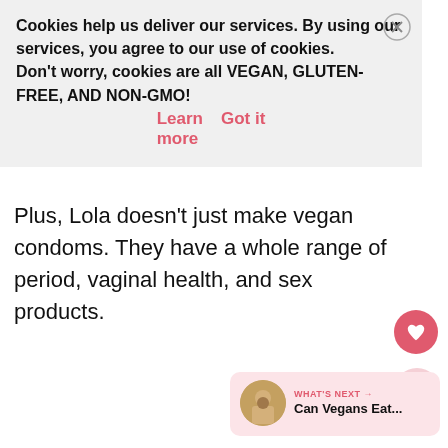Lola is a woman-owned company and their products are electronically tested, FDA 510(K) cleared, and approved by gynecologists. In addition, their mission is to give back, lift up, and create awareness for reproductive inequity.
Cookies help us deliver our services. By using our services, you agree to our use of cookies. Don't worry, cookies are all VEGAN, GLUTEN-FREE, AND NON-GMO! Learn more  Got it
Plus, Lola doesn’t just make vegan condoms. They have a whole range of period, vaginal health, and sex products.
[Figure (screenshot): WHAT'S NEXT arrow label with 'Can Vegans Eat...' text and a circular thumbnail showing a person holding food]